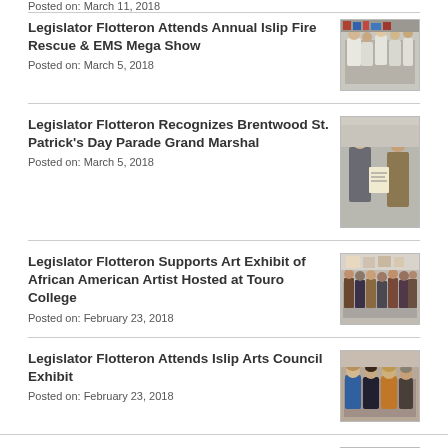Posted on: March 11, 2018
Legislator Flotteron Attends Annual Islip Fire Rescue & EMS Mega Show
Posted on: March 5, 2018
[Figure (photo): Group photo at Islip Fire Rescue & EMS Mega Show]
Legislator Flotteron Recognizes Brentwood St. Patrick's Day Parade Grand Marshal
Posted on: March 5, 2018
[Figure (photo): Two people posing, one holding a certificate or document]
Legislator Flotteron Supports Art Exhibit of African American Artist Hosted at Touro College
Posted on: February 23, 2018
[Figure (photo): Group photo at art exhibit at Touro College]
Legislator Flotteron Attends Islip Arts Council Exhibit
Posted on: February 23, 2018
[Figure (photo): Group of women at Islip Arts Council Exhibit]
Help Support County Legislative Annual Pet Food Drive